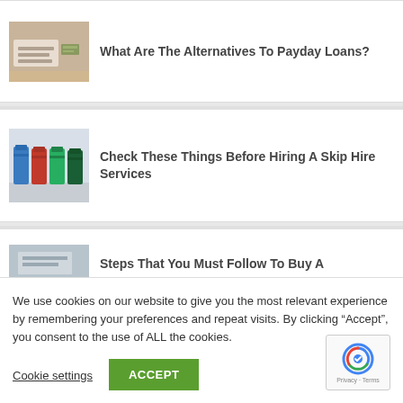[Figure (photo): Person handling papers and money on a desk]
What Are The Alternatives To Payday Loans?
[Figure (photo): Row of colorful recycling bins (blue, red, green) on a street]
Check These Things Before Hiring A Skip Hire Services
[Figure (photo): Partial view of a building or product image]
Steps That You Must Follow To Buy A
We use cookies on our website to give you the most relevant experience by remembering your preferences and repeat visits. By clicking “Accept”, you consent to the use of ALL the cookies.
Cookie settings
ACCEPT